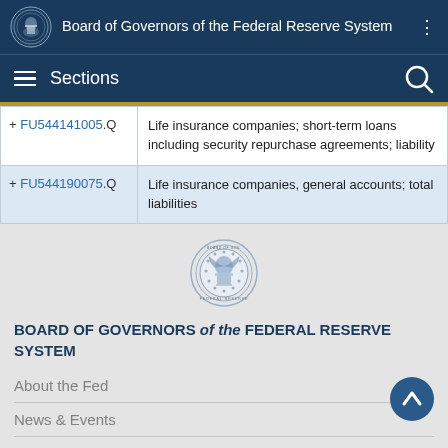Board of Governors of the Federal Reserve System
Sections
| Code | Description |
| --- | --- |
| + FU544141005.Q | Life insurance companies; short-term loans including security repurchase agreements; liability |
| + FU544190075.Q | Life insurance companies, general accounts; total liabilities |
[Figure (logo): Federal Reserve System seal]
BOARD OF GOVERNORS of the FEDERAL RESERVE SYSTEM
About the Fed
News & Events
Monetary Policy